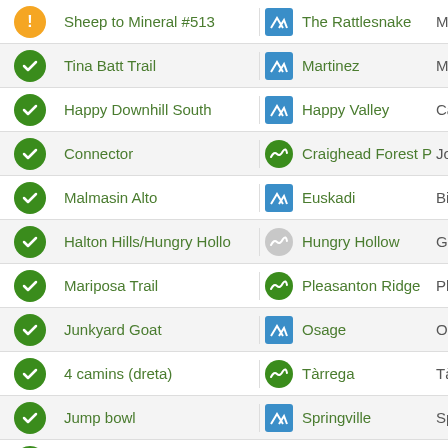| Status | Trail Name | Area Icon | Area Name | Extra |
| --- | --- | --- | --- | --- |
| ! | Sheep to Mineral #513 | blue-mountain | The Rattlesnake | Miss |
| ✓ | Tina Batt Trail | blue-mountain | Martinez | Mart |
| ✓ | Happy Downhill South | blue-mountain | Happy Valley | Cam |
| ✓ | Connector | green-wave | Craighead Forest Park | Jone |
| ✓ | Malmasin Alto | blue-mountain | Euskadi | Bilba |
| ✓ | Halton Hills/Hungry Hollo | gray-wave | Hungry Hollow | Geo |
| ✓ | Mariposa Trail | green-wave | Pleasanton Ridge | Plea |
| ✓ | Junkyard Goat | blue-mountain | Osage | Osa |
| ✓ | 4 camins (dreta) | green-wave | Tàrrega | Tàrr |
| ✓ | Jump bowl | blue-mountain | Springville | Spri |
| ✓ | Collegamento Gallinit | green-wave | Biella | Biell |